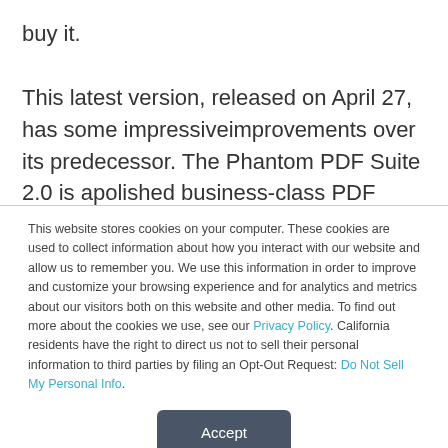buy it.

This latest version, released on April 27, has some impressiveimprovements over its predecessor. The Phantom PDF Suite 2.0 is apolished business-class PDF toolkit. It is a Windows platform productdesigned to run on Windows 7 (32-bit & 64-bit), Windows Vista HomeBasic as well as Vista Home
This website stores cookies on your computer. These cookies are used to collect information about how you interact with our website and allow us to remember you. We use this information in order to improve and customize your browsing experience and for analytics and metrics about our visitors both on this website and other media. To find out more about the cookies we use, see our Privacy Policy. California residents have the right to direct us not to sell their personal information to third parties by filing an Opt-Out Request: Do Not Sell My Personal Info.
Accept